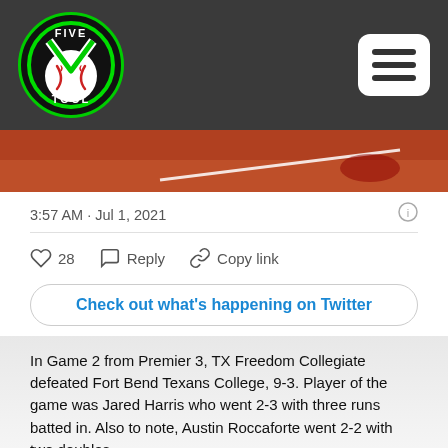[Figure (logo): Five Tool Baseball circular logo with green border on dark header background]
[Figure (screenshot): Twitter/X embedded tweet card showing a baseball field image strip, timestamp 3:57 AM · Jul 1, 2021, 28 likes, Reply and Copy link actions, and a Check out what's happening on Twitter button]
In Game 2 from Premier 3, TX Freedom Collegiate defeated Fort Bend Texans College, 9-3. Player of the game was Jared Harris who went 2-3 with three runs batted in. Also to note, Austin Roccaforte went 2-2 with two doubles.